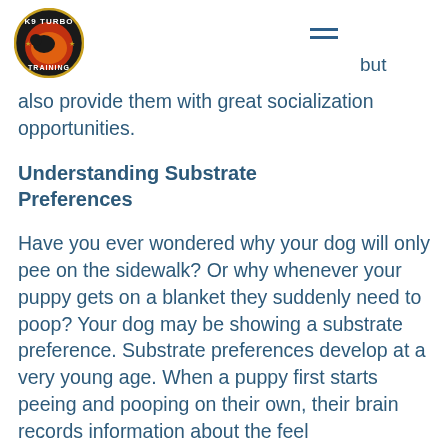K9 Turbo Training logo and navigation
but also provide them with great socialization opportunities.
Understanding Substrate Preferences
Have you ever wondered why your dog will only pee on the sidewalk? Or why whenever your puppy gets on a blanket they suddenly need to poop? Your dog may be showing a substrate preference. Substrate preferences develop at a very young age. When a puppy first starts peeing and pooping on their own, their brain records information about the feel